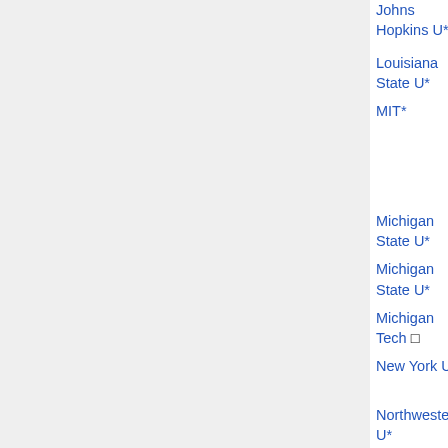| Institution | Type | Date | Info |
| --- | --- | --- | --- |
| Johns Hopkins U* | Sylvester | Nov 17 |  |
| Louisiana State U* | postdoc | Jan 2 | filled (1... |
| MIT* | Moore | Dec 1 | Olivier Berna... Schom... Pries, M... Tingley... |
| Michigan State U* | postdoc | Dec 31 |  |
| Michigan State U* | geom/topol | Dec 31 | filled □ |
| Michigan Tech □ | visiting asst |  |  |
| New York U* | Courant | Dec 15 | Kay Kirkpa... |
| Northwestern U* | Boas | Dec 1 | filled □ |
| Notre Dame |  |  | Yu Xie |
| Purdue U* | visiting | Nov 15 | Mihai Tohane... |